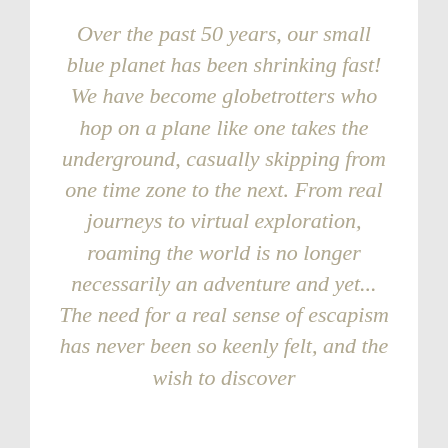Over the past 50 years, our small blue planet has been shrinking fast! We have become globetrotters who hop on a plane like one takes the underground, casually skipping from one time zone to the next. From real journeys to virtual exploration, roaming the world is no longer necessarily an adventure and yet... The need for a real sense of escapism has never been so keenly felt, and the wish to discover